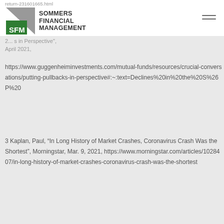return-231601665.html
[Figure (logo): Sommers Financial Management logo with SFM initials in green and gray]
2... s in Perspective", April 2021,
https://www.guggenheiminvestments.com/mutual-funds/resources/crucial-conversations/putting-pullbacks-in-perspective#:~:text=Declines%20in%20the%20S%26P%20
3 Kaplan, Paul, “In Long History of Market Crashes, Coronavirus Crash Was the Shortest”, Morningstar, Mar. 9, 2021, https://www.morningstar.com/articles/1028407/in-long-history-of-market-crashes-coronavirus-crash-was-the-shortest